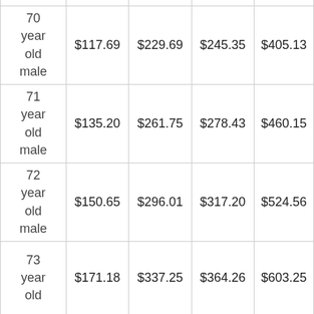| Age/Gender | Col1 | Col2 | Col3 | Col4 |
| --- | --- | --- | --- | --- |
| 70 year old male | $117.69 | $229.69 | $245.35 | $405.13 |
| 71 year old male | $135.20 | $261.75 | $278.43 | $460.15 |
| 72 year old male | $150.65 | $296.01 | $317.20 | $524.56 |
| 73 year old | $171.18 | $337.25 | $364.26 | $603.25 |